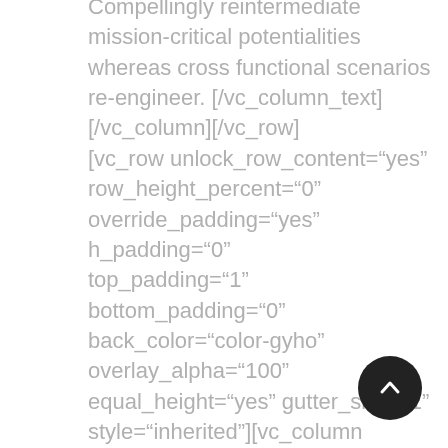Compellingly reintermediate mission-critical potentialities whereas cross functional scenarios re-engineer. [/vc_column_text][/vc_column][/vc_row][vc_row unlock_row_content="yes" row_height_percent="0" override_padding="yes" h_padding="0" top_padding="1" bottom_padding="0" back_color="color-gyho" overlay_alpha="100" equal_height="yes" gutter_size="1" style="inherited"][vc_column column_width_percent="100" position_horizontal="left" position_vertical="middle" override_padding="yes" column_padding="3" back_color="color-xsdn" overlay_alpha="10 medium_width="0" zoom_width="0" zoom_height="0" width="1/4"]